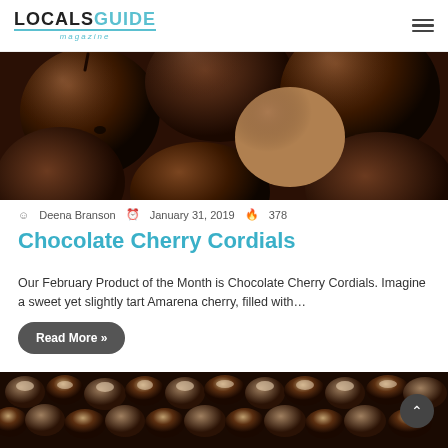LOCALS GUIDE magazine
[Figure (photo): Close-up photo of chocolate cherry cordials, dark chocolate-covered cherries with glossy coating, on white background]
Deena Branson  January 31, 2019  378
Chocolate Cherry Cordials
Our February Product of the Month is Chocolate Cherry Cordials. Imagine a sweet yet slightly tart Amarena cherry, filled with…
Read More »
[Figure (photo): Close-up photo of many chocolate-covered confections with cream/white swirls, densely packed]